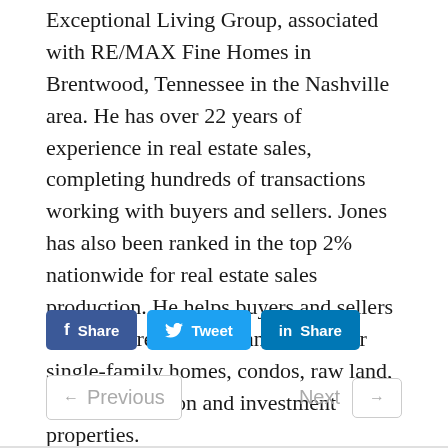Exceptional Living Group, associated with RE/MAX Fine Homes in Brentwood, Tennessee in the Nashville area. He has over 22 years of experience in real estate sales, completing hundreds of transactions working with buyers and sellers. Jones has also been ranked in the top 2% nationwide for real estate sales production. He helps buyers and sellers with their real estate transactions for single-family homes, condos, raw land, new construction and investment properties.
[Figure (other): Social sharing buttons: Facebook Share, Twitter Tweet, LinkedIn Share]
[Figure (other): Navigation buttons: Previous (left arrow) and Next (right arrow)]